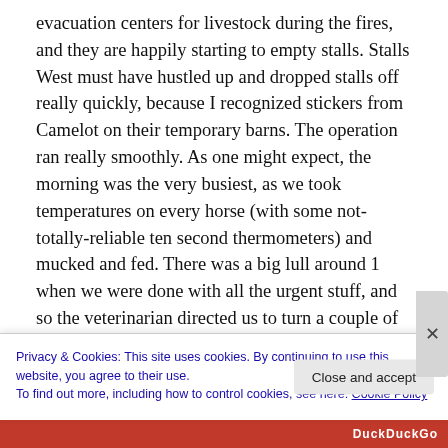evacuation centers for livestock during the fires, and they are happily starting to empty stalls.  Stalls West must have hustled up and dropped stalls off really quickly, because I recognized stickers from Camelot on their temporary barns.  The operation ran really smoothly.  As one might expect, the morning was the very busiest, as we took temperatures on every horse (with some not-totally-reliable ten second thermometers) and mucked and fed.  There was a big lull around 1 when we were done with all the urgent stuff, and so the veterinarian directed us to turn a couple of big mares (who had been stuck for a few weeks in more
Privacy & Cookies: This site uses cookies. By continuing to use this website, you agree to their use.
To find out more, including how to control cookies, see here: Cookie Policy